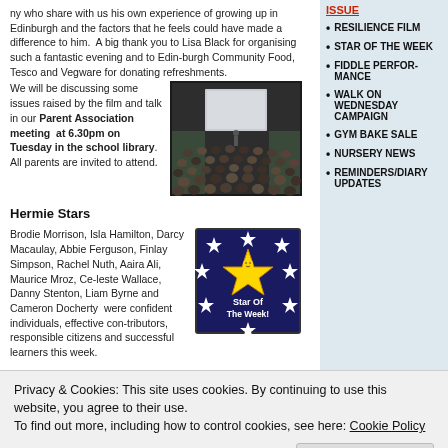ny who share with us his own experience of growing up in Edinburgh and the factors that he feels could have made a difference to him. A big thank you to Lisa Black for organising such a fantastic evening and to Edinburgh Community Food, Tesco and Vegware for donating refreshments. We will be discussing some issues raised by the film and talk in our Parent Association meeting at 6.30pm on Tuesday in the school library. All parents are invited to attend.
[Figure (photo): Photo of a school hall with audience seated watching a presentation on screen]
Hermie Stars
Brodie Morrison, Isla Hamilton, Darcy Macaulay, Abbie Ferguson, Finlay Simpson, Rachel Nuth, Aaira Ali, Maurice Mroz, Celeste Wallace, Danny Stenton, Liam Byrne and Cameron Docherty were confident individuals, effective contributors, responsible citizens and successful learners this week.
[Figure (illustration): Star of the Week badge - circular badge with yellow star on blue background with text 'Star Of The Week!']
RESILIENCE FILM
STAR OF THE WEEK
FIDDLE PERFORMANCE
WALK ON WEDNESDAY CAMPAIGN
GYM BAKE SALE
NURSERY NEWS
REMINDERS/DIARY UPDATES
Privacy & Cookies: This site uses cookies. By continuing to use this website, you agree to their use.
To find out more, including how to control cookies, see here: Cookie Policy
Close and accept
morning. We also learned Gaelic mouth music and sang. Tha mi
ing safe in the kitchen, using knives and